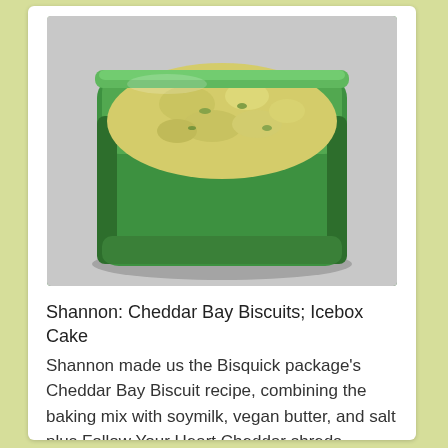[Figure (photo): A green plastic Tupperware-style container filled with a creamy yellow-green mixture, appearing to be a biscuit or salad mixture, photographed on a light gray background.]
Shannon: Cheddar Bay Biscuits; Icebox Cake
Shannon made us the Bisquick package's Cheddar Bay Biscuit recipe, combining the baking mix with soymilk, vegan butter, and salt plus Follow Your Heart Cheddar shreds, melted butter, bay